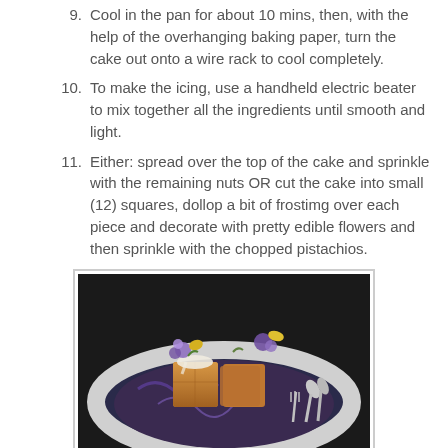9. Cool in the pan for about 10 mins, then, with the help of the overhanging baking paper, turn the cake out onto a wire rack to cool completely.
10. To make the icing, use a handheld electric beater to mix together all the ingredients until smooth and light.
11. Either: spread over the top of the cake and sprinkle with the remaining nuts OR cut the cake into small (12) squares, dollop a bit of frostimg over each piece and decorate with pretty edible flowers and then sprinkle with the chopped pistachios.
[Figure (photo): A decorative plate with small golden brown cake squares topped with white frosting and edible flowers (purple and yellow). Spoons and a fork are visible to the right of the plate. Photo is taken against a dark background.]